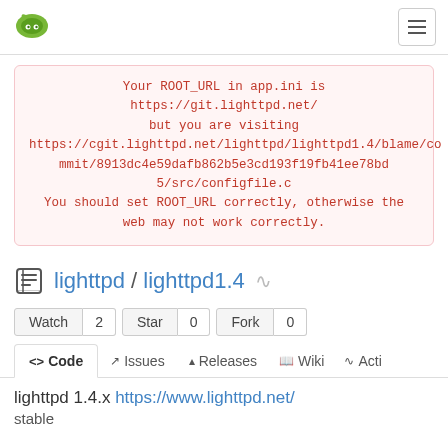[Figure (logo): Gitea logo - green flame/tag icon in top left navbar]
Your ROOT_URL in app.ini is https://git.lighttpd.net/ but you are visiting https://cgit.lighttpd.net/lighttpd/lighttpd1.4/blame/commit/8913dc4e59dafb862b5e3cd193f19fb41ee78bd5/src/configfile.c You should set ROOT_URL correctly, otherwise the web may not work correctly.
lighttpd / lighttpd1.4
Watch 2  Star 0  Fork 0
<> Code  Issues  Releases  Wiki  Activity
lighttpd 1.4.x https://www.lighttpd.net/
stable